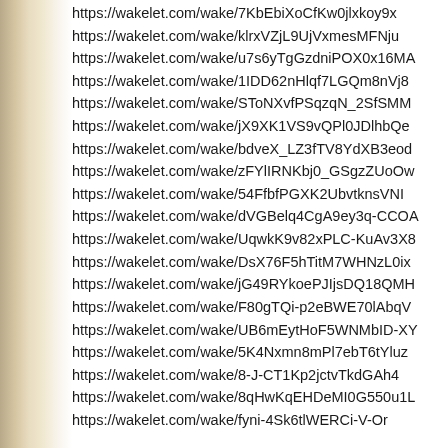https://wakelet.com/wake/7KbEbiXoCfKw0jlxkoy9x
https://wakelet.com/wake/klrxVZjL9UjVxmesMFNju
https://wakelet.com/wake/u7s6yTgGzdniPOX0x16MA
https://wakelet.com/wake/1IDD62nHlqf7LGQm8nVj8
https://wakelet.com/wake/SToNXvfPSqzqN_2SfSMM
https://wakelet.com/wake/jX9XK1VS9vQPl0JDlhbQe
https://wakelet.com/wake/bdveX_LZ3fTV8YdXB3eod
https://wakelet.com/wake/zFYlIRNKbj0_GSgzZUoOw
https://wakelet.com/wake/54FfbfPGXK2UbvtknsVNI
https://wakelet.com/wake/dVGBelq4CgA9ey3q-CCOA
https://wakelet.com/wake/UqwkK9v82xPLC-KuAv3X8
https://wakelet.com/wake/DsX76F5hTitM7WHNzL0ix
https://wakelet.com/wake/jG49RYkoePJIjsDQ18QMH
https://wakelet.com/wake/F80gTQi-p2eBWE70lAbqV
https://wakelet.com/wake/UB6mEytHoF5WNMbID-XY
https://wakelet.com/wake/5K4Nxmn8mPl7ebT6tYluz
https://wakelet.com/wake/8-J-CT1Kp2jctvTkdGAh4
https://wakelet.com/wake/8qHwKqEHDeMI0G550u1L
https://wakelet.com/wake/fyni-4Sk6tlWERCi-V-Or